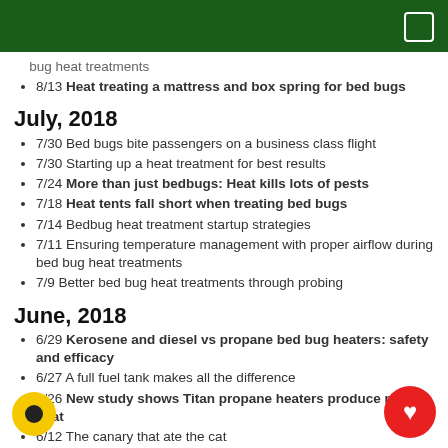bug heat treatments
8/13 Heat treating a mattress and box spring for bed bugs
July, 2018
7/30 Bed bugs bite passengers on a business class flight
7/30 Starting up a heat treatment for best results
7/24 More than just bedbugs: Heat kills lots of pests
7/18 Heat tents fall short when treating bed bugs
7/14 Bedbug heat treatment startup strategies
7/11 Ensuring temperature management with proper airflow during bed bug heat treatments
7/9 Better bed bug heat treatments through probing
June, 2018
6/29 Kerosene and diesel vs propane bed bug heaters: safety and efficacy
6/27 A full fuel tank makes all the difference
6/26 New study shows Titan propane heaters produce more heat
6/12 The canary that ate the cat
y, 2018
5/24 Make bed bug physiology improve your image in your